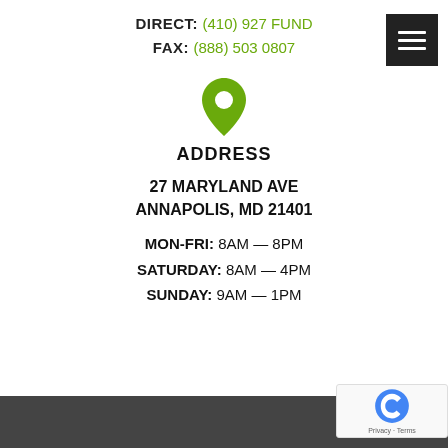DIRECT: (410) 927 FUND
FAX: (888) 503 0807
[Figure (illustration): Green map pin / location icon]
ADDRESS
27 MARYLAND AVE
ANNAPOLIS, MD 21401
MON-FRI: 8AM — 8PM
SATURDAY: 8AM — 4PM
SUNDAY: 9AM — 1PM